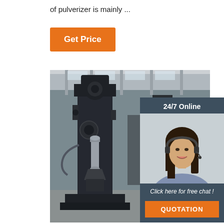of pulverizer is mainly ...
Get Price
[Figure (photo): Industrial pulverizer machines in a factory warehouse setting, large dark metal machinery on concrete floor]
[Figure (infographic): 24/7 Online chat widget with a customer service representative wearing a headset, with 'Click here for free chat!' text and an orange QUOTATION button]
[Figure (logo): TOP logo with orange dots arranged in a semicircle above the text TOP]